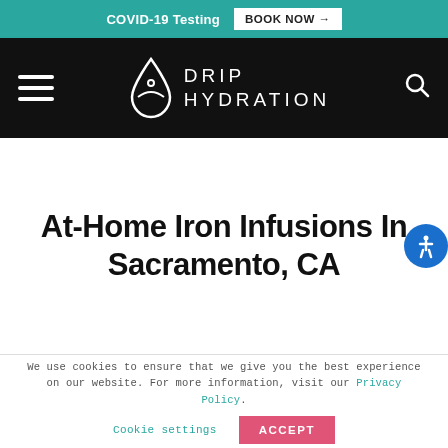COVID-19 Testing  BOOK NOW →
[Figure (logo): Drip Hydration logo with hamburger menu and search icon on black navigation bar]
At-Home Iron Infusions In Sacramento, CA
We use cookies to ensure that we give you the best experience on our website. For more information, visit our Privacy Policy.
Cookie settings  ACCEPT